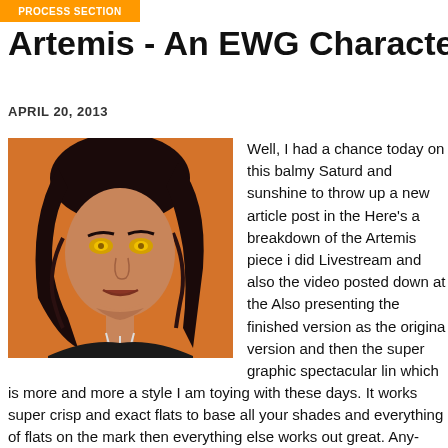PROCESS SECTION
Artemis - An EWG Character Art Breakd
APRIL 20, 2013
[Figure (illustration): Comic-style illustration of Artemis character, a dark-haired woman with glowing yellow eyes against an orange background]
Well, I had a chance today on this balmy Saturd and sunshine to throw up a new article post in the Here's a breakdown of the Artemis piece i did Livestream and also the video posted down at the Also presenting the finished version as the origina version and then the super graphic spectacular lin which is more and more a style I am toying with these days. It works super crisp and exact flats to base all your shades and everything of flats on the mark then everything else works out great. Any-who Enj to speak of the process of this piece. Though it doesn't get into a ton point out the key steps involved. So this post features the personal (i of the EWG produced webcomic series 'JumpingBoy'. In this case, th a proper full color illustration of Marty, or as she obviously is also kn this piece, Artemis. Enjoy!